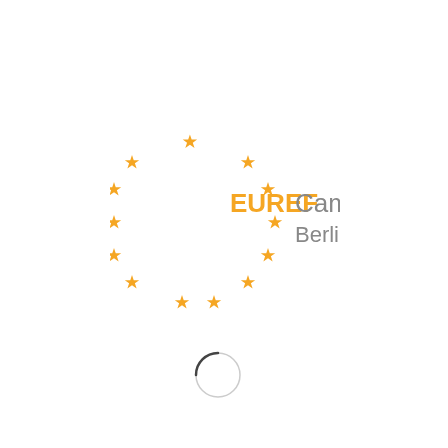[Figure (logo): EUREF Campus Berlin logo: a circle of 12 golden/orange stars arranged in an arc forming a broken circle on the left side, with bold orange text 'EUREF' and gray text 'Campus' on the same line, and gray text 'Berlin' below, centered to the right of the stars.]
[Figure (other): A loading spinner icon — a small circle outline with a partial arc, light gray, indicating a loading state.]